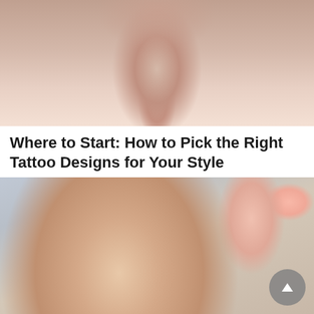[Figure (photo): Close-up photo of a person with a small tattoo visible, fingers touching near the neck/chest area, wearing a white top]
Where to Start: How to Pick the Right Tattoo Designs for Your Style
[Figure (photo): Photo of a blonde woman with eyes closed receiving a serum/dropper treatment applied to her cheek, holding a golden dropper bottle]
Facebook Twitter Mail LinkedIn WhatsApp share buttons